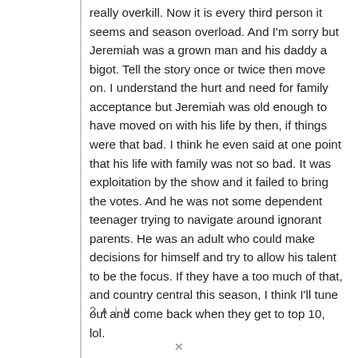really overkill. Now it is every third person it seems and season overload. And I'm sorry but Jeremiah was a grown man and his daddy a bigot. Tell the story once or twice then move on. I understand the hurt and need for family acceptance but Jeremiah was old enough to have moved on with his life by then, if things were that bad. I think he even said at one point that his life with family was not so bad. It was exploitation by the show and it failed to bring the votes. And he was not some dependent teenager trying to navigate around ignorant parents. He was an adult who could make decisions for himself and try to allow his talent to be the focus. If they have a too much of that, and country central this season, I think I'll tune out and come back when they get to top 10, lol.
2 ^ | v